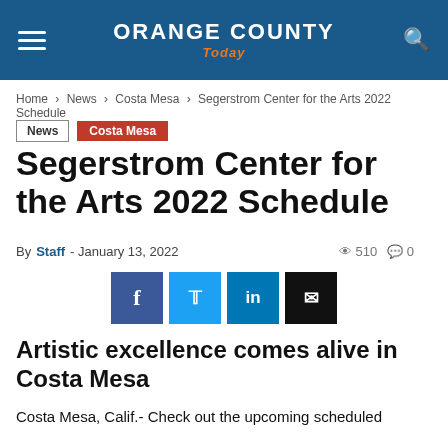ORANGE COUNTY Today
Home › News › Costa Mesa › Segerstrom Center for the Arts 2022 Schedule
News   Costa Mesa
Segerstrom Center for the Arts 2022 Schedule
By Staff - January 13, 2022   510   0
[Figure (other): Social sharing buttons: Facebook, Twitter, LinkedIn, Email]
Artistic excellence comes alive in Costa Mesa
Costa Mesa, Calif.- Check out the upcoming scheduled